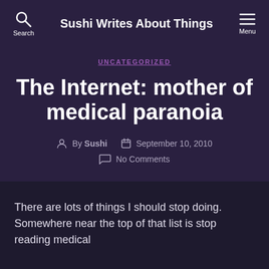Sushi Writes About Things
UNCATEGORIZED
The Internet: mother of medical paranoia
By Sushi   September 10, 2010   No Comments
There are lots of things I should stop doing. Somewhere near the top of that list is stop reading medical